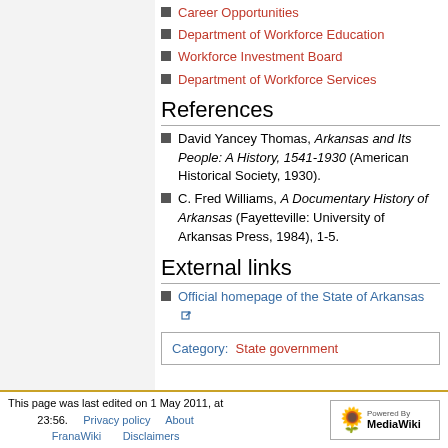Career Opportunities
Department of Workforce Education
Workforce Investment Board
Department of Workforce Services
References
David Yancey Thomas, Arkansas and Its People: A History, 1541-1930 (American Historical Society, 1930).
C. Fred Williams, A Documentary History of Arkansas (Fayetteville: University of Arkansas Press, 1984), 1-5.
External links
Official homepage of the State of Arkansas
Category: State government
This page was last edited on 1 May 2011, at 23:56. Privacy policy About FranaWiki Disclaimers